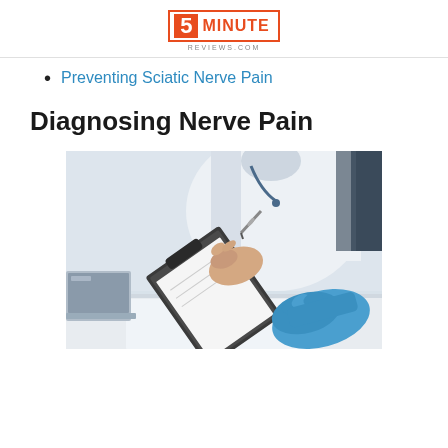5 MINUTE REVIEWS.COM
Preventing Sciatic Nerve Pain
Diagnosing Nerve Pain
[Figure (photo): A doctor or medical professional wearing a white coat and blue latex glove on one hand, writing on a clipboard with a pen. A laptop is visible in the background. Clinical setting.]